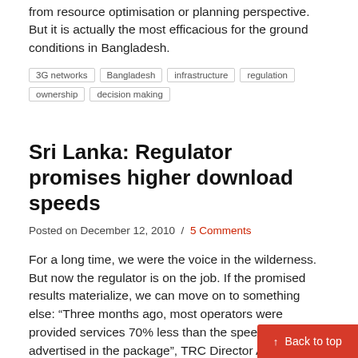from resource optimisation or planning perspective. But it is actually the most efficacious for the ground conditions in Bangladesh.
3G networks
Bangladesh
infrastructure
regulation
ownership
decision making
Sri Lanka: Regulator promises higher download speeds
Posted on December 12, 2010  /  5 Comments
For a long time, we were the voice in the wilderness. But now the regulator is on the job. If the promised results materialize, we can move on to something else: “Three months ago, most operators were provided services 70% less than the speed rate advertised in the package”, TRC Director Anusha Palpita said. The speed-up move came after the TRC